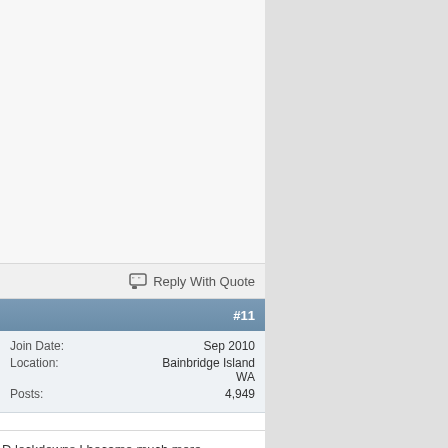Reply With Quote
#11
Join Date: Sep 2010
Location: Bainbridge Island WA
Posts: 4,949
D lockdowns I became much more than I had in the "before times". The ve got an awful lot of adventuring One of the truly enjoyable aspects of leg, getting a berth and having my wife